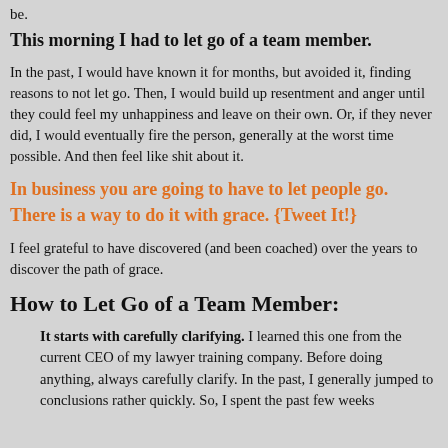be.
This morning I had to let go of a team member.
In the past, I would have known it for months, but avoided it, finding reasons to not let go. Then, I would build up resentment and anger until they could feel my unhappiness and leave on their own. Or, if they never did, I would eventually fire the person, generally at the worst time possible. And then feel like shit about it.
In business you are going to have to let people go. There is a way to do it with grace. {Tweet It!}
I feel grateful to have discovered (and been coached) over the years to discover the path of grace.
How to Let Go of a Team Member:
It starts with carefully clarifying. I learned this one from the current CEO of my lawyer training company. Before doing anything, always carefully clarify. In the past, I generally jumped to conclusions rather quickly. So, I spent the past few weeks